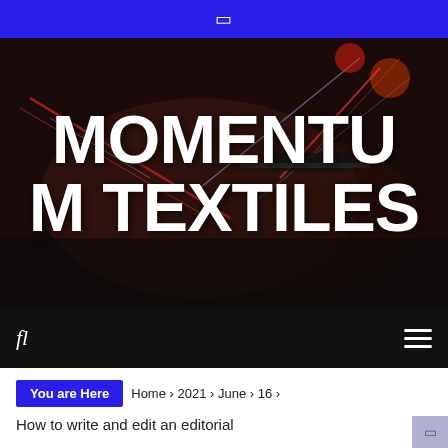❐
[Figure (photo): Dark moody background photo of stage lighting with red and blue light streaks, serving as hero banner background for MOMENTUM TEXTILES]
MOMENTUM TEXTILES
fl  ≡
You are Here   Home › 2021 › June › 16 ›
How to write and edit an editorial